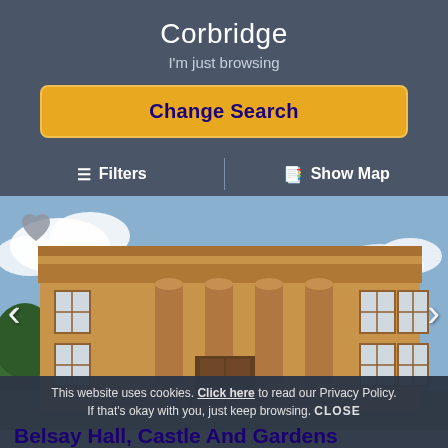Corbridge
I'm just browsing
Change Search
≡ Filters
⊞ Show Map
[Figure (photo): Exterior photograph of Belsay Hall, a neoclassical stone building with large columns, taken from the front. The building has multiple windows, and there is blue sky with clouds in the background.]
This website uses cookies. Click here to read our Privacy Policy. If that's okay with you, just keep browsing. CLOSE
Belsay Hall, Castle And Gardens